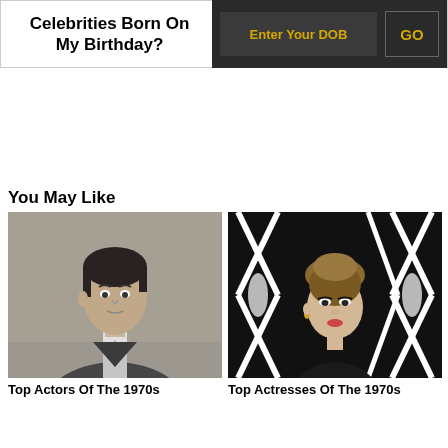Celebrities Born On My Birthday?
Enter Your DOB
GO
You May Like
[Figure (photo): Black and white photo of a man in a suit, used as thumbnail for Top Actors Of The 1970s]
Top Actors Of The 1970s
[Figure (photo): Black and white photo of a woman with geometric pattern background, used as thumbnail for Top Actresses Of The 1970s]
Top Actresses Of The 1970s